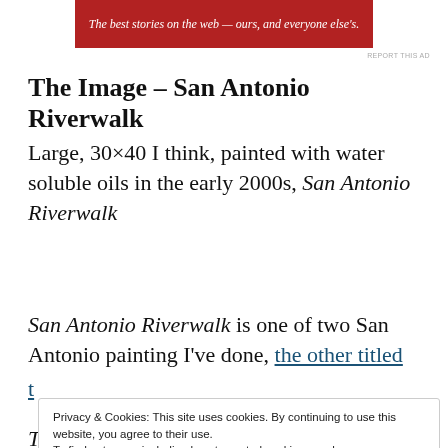[Figure (other): Red advertisement banner with white italic text: 'The best stories on the web — ours, and everyone else's.']
REPORT THIS AD
The Image – San Antonio Riverwalk
Large, 30×40 I think, painted with water soluble oils in the early 2000s, San Antonio Riverwalk
San Antonio Riverwalk is one of two San Antonio painting I've done, the other titled
Privacy & Cookies: This site uses cookies. By continuing to use this website, you agree to their use.
To find out more, including how to control cookies, see here:
Cookie Policy
Close and accept
The Old American Artist...